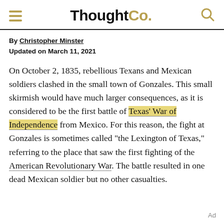ThoughtCo.
By Christopher Minster
Updated on March 11, 2021
On October 2, 1835, rebellious Texans and Mexican soldiers clashed in the small town of Gonzales. This small skirmish would have much larger consequences, as it is considered to be the first battle of Texas' War of Independence from Mexico. For this reason, the fight at Gonzales is sometimes called "the Lexington of Texas," referring to the place that saw the first fighting of the American Revolutionary War. The battle resulted in one dead Mexican soldier but no other casualties.
Ad